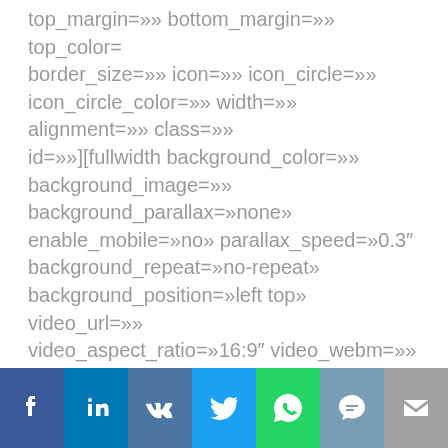top_margin=»» bottom_margin=»» top_color= border_size=»» icon=»» icon_circle=»» icon_circle_color=»» width=»» alignment=»» class=»» id=»»][fullwidth background_color=»» background_image=»» background_parallax=»none» enable_mobile=»no» parallax_speed=»0.3″ background_repeat=»no-repeat» background_position=»left top» video_url=»» video_aspect_ratio=»16:9″ video_webm=»» video_mp4=»» video_ogv=»» video_preview_image=»» overlay_color=»» overlay_opacity=»0.5″ video_mute=»yes» video_loop=»yes» fade=»no» border_size=»0px» border_color=»» border_style=»» padding_top=»20px» padding_bottom=»20px» padding_left=»0px» padding_right=»0px» hundred_percent=»no» equal_height_columns=»no» hide_on_mobile=»no» menu_anchor=»» class=»» id=»»]
[Figure (other): Social share bar with icons for Facebook, LinkedIn, VK, Twitter, WhatsApp, SMS, and Email]